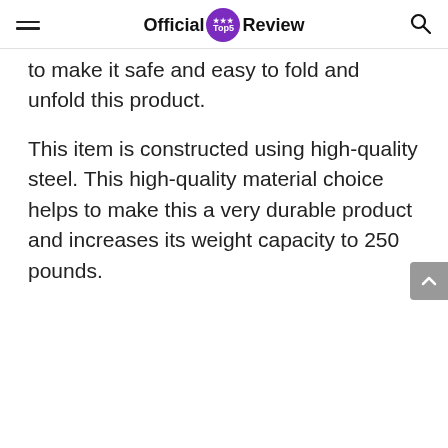Official Top5 Review
to make it safe and easy to fold and unfold this product.
This item is constructed using high-quality steel. This high-quality material choice helps to make this a very durable product and increases its weight capacity to 250 pounds.